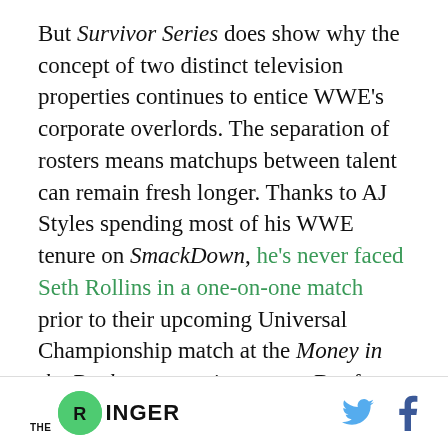But Survivor Series does show why the concept of two distinct television properties continues to entice WWE's corporate overlords. The separation of rosters means matchups between talent can remain fresh longer. Thanks to AJ Styles spending most of his WWE tenure on SmackDown, he's never faced Seth Rollins in a one-on-one match prior to their upcoming Universal Championship match at the Money in the Bank pay-per-view event. But from a more tangible financial perspective, a brand split means WWE can sell the broadcast rights for two discrete, bespoke live TV
THE RINGER